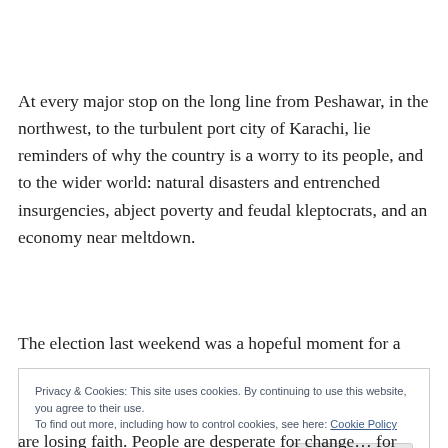At every major stop on the long line from Peshawar, in the northwest, to the turbulent port city of Karachi, lie reminders of why the country is a worry to its people, and to the wider world: natural disasters and entrenched insurgencies, abject poverty and feudal kleptocrats, and an economy near meltdown.
The election last weekend was a hopeful moment for a
Privacy & Cookies: This site uses cookies. By continuing to use this website, you agree to their use.
To find out more, including how to control cookies, see here: Cookie Policy

Close and accept
are losing faith. People are desperate for change… for